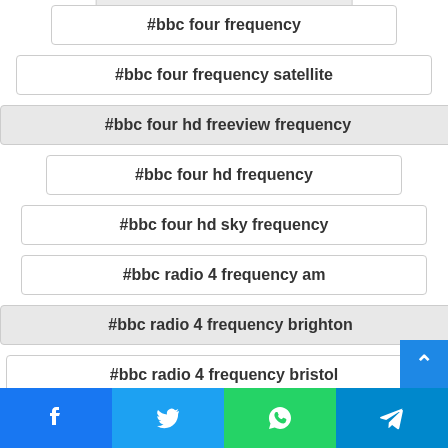#bbc four freesat frequency
#bbc four frequency
#bbc four frequency satellite
#bbc four hd freeview frequency
#bbc four hd frequency
#bbc four hd sky frequency
#bbc radio 4 frequency am
#bbc radio 4 frequency brighton
#bbc radio 4 frequency bristol
#bbc radio 4 frequency cambridge